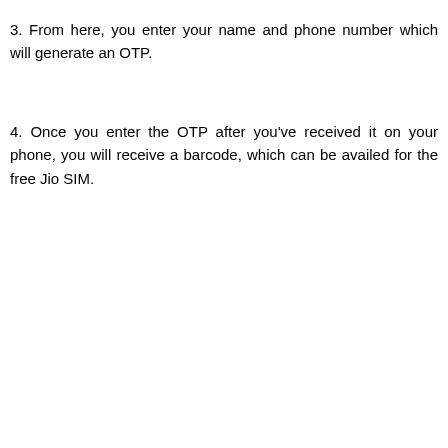3. From here, you enter your name and phone number which will generate an OTP.
4. Once you enter the OTP after you've received it on your phone, you will receive a barcode, which can be availed for the free Jio SIM.